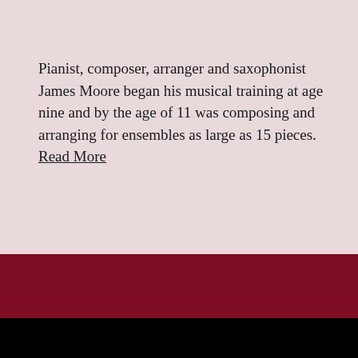Pianist, composer, arranger and saxophonist James Moore began his musical training at age nine and by the age of 11 was composing and arranging for ensembles as large as 15 pieces. Read More